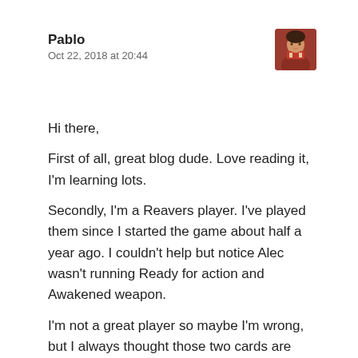Pablo
Oct 22, 2018 at 20:44
Hi there,
First of all, great blog dude. Love reading it, I'm learning lots.
Secondly, I'm a Reavers player. I've played them since I started the game about half a year ago. I couldn't help but notice Alec wasn't running Ready for action and Awakened weapon.
I'm not a great player so maybe I'm wrong, but I always thought those two cards are essential for the Reavers, since they suffer from unreliable attacks and low damage output. One reroll and one extra attack feel very strong IMHO.
How did his deck work? Why didn't you pick those cards?